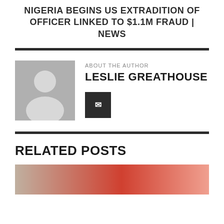NIGERIA BEGINS US EXTRADITION OF OFFICER LINKED TO $1.1M FRAUD | NEWS
ABOUT THE AUTHOR
LESLIE GREATHOUSE
[Figure (illustration): Gray placeholder author avatar with silhouette icon]
[Figure (other): Dark square social media button with letter icon]
RELATED POSTS
[Figure (photo): Partial photo thumbnail for a related post]